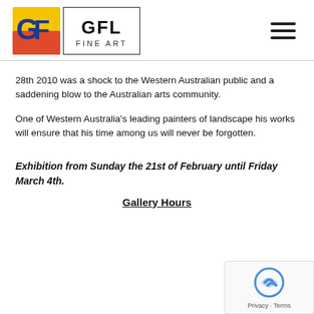[Figure (logo): GFL Fine Art logo with colorful GF emblem and GFL FINE ART text]
28th 2010 was a shock to the Western Australian public and a saddening blow to the Australian arts community.
One of Western Australia's leading painters of landscape his works will ensure that his time among us will never be forgotten.
Exhibition from Sunday the 21st of February until Friday March 4th.
Gallery Hours